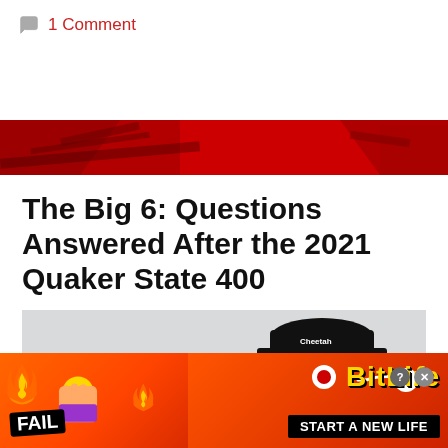1 Comment
[Figure (photo): Red banner/header image strip with dark background elements]
The Big 6: Questions Answered After the 2021 Quaker State 400
July 11, 2021 By Amy Henderson
[Figure (photo): Photo of a NASCAR driver wearing a dark cap with Cheetos/sponsor logo, red jacket, gray blurred background]
[Figure (other): BitLife advertisement banner with FAIL badge, fire emoji, facepalm emoji, sperm icon, BitLife logo in yellow, and START A NEW LIFE text on red/orange background]